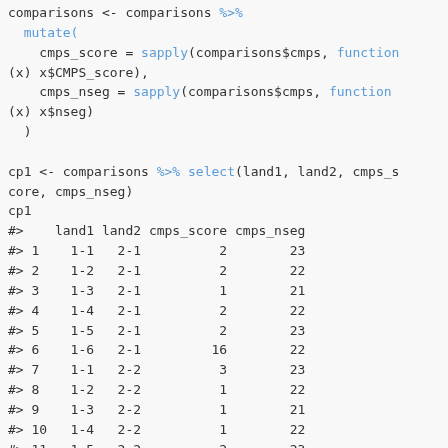comparisons <- comparisons %>% mutate( cmps_score = sapply(comparisons$cmps, function(x) x$CMPS_score), cmps_nseg = sapply(comparisons$cmps, function(x) x$nseg) )

cp1 <- comparisons %>% select(land1, land2, cmps_score, cmps_nseg)
cp1
#>    land1 land2 cmps_score cmps_nseg
#> 1  1-1   2-1            2        23
#> 2  1-2   2-1            2        22
#> 3  1-3   2-1            1        21
#> 4  1-4   2-1            2        22
#> 5  1-5   2-1            2        23
#> 6  1-6   2-1           16        22
#> 7  1-1   2-2            3        23
#> 8  1-2   2-2            1        22
#> 9  1-3   2-2            1        21
#> 10 1-4   2-2            1        22
#> 11 1-5   2-2            2        23
#> 12 1-6   2-2            3        22
#> 13 1-1   2-3            2        23